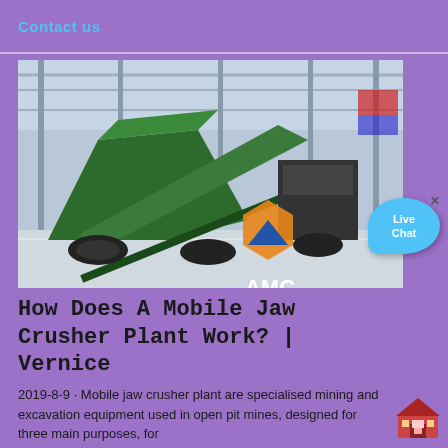Contact us
[Figure (photo): Industrial photo of a mobile jaw crusher plant inside a large factory/warehouse, showing green crushing/screening machinery on tracks with conveyor belts. AMC logo visible in the lower right of the photo.]
How Does A Mobile Jaw Crusher Plant Work? | Vernice
2019-8-9 · Mobile jaw crusher plant are specialised mining and excavation equipment used in open pit mines, designed for three main purposes, for crushing materials, screening, for obtaining the desired...